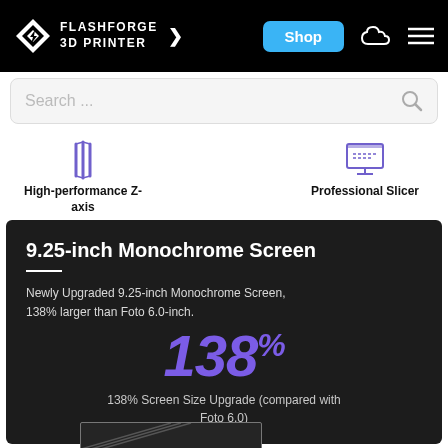[Figure (screenshot): Flashforge 3D Printer website navigation bar with logo, Shop button, cloud icon, and menu icon on black background]
[Figure (screenshot): Search bar with placeholder text 'Search ...' and magnifying glass icon]
[Figure (infographic): High-performance Z-axis feature icon with purple vertical lines]
[Figure (infographic): Professional Slicer feature icon with monitor graphic]
9.25-inch Monochrome Screen
Newly Upgraded 9.25-inch Monochrome Screen, 138% larger than Foto 6.0-inch.
138%
138% Screen Size Upgrade (compared with Foto 6.0)